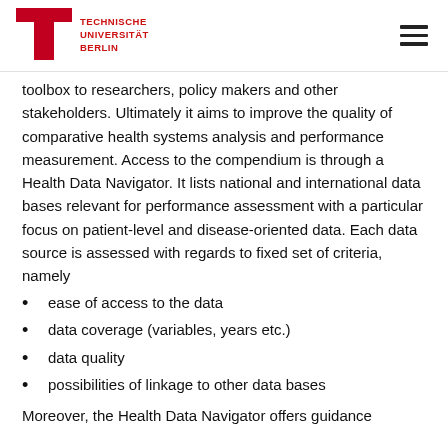TECHNISCHE UNIVERSITÄT BERLIN
toolbox to researchers, policy makers and other stakeholders. Ultimately it aims to improve the quality of comparative health systems analysis and performance measurement. Access to the compendium is through a Health Data Navigator. It lists national and international data bases relevant for performance assessment with a particular focus on patient-level and disease-oriented data. Each data source is assessed with regards to fixed set of criteria, namely
ease of access to the data
data coverage (variables, years etc.)
data quality
possibilities of linkage to other data bases
Moreover, the Health Data Navigator offers guidance